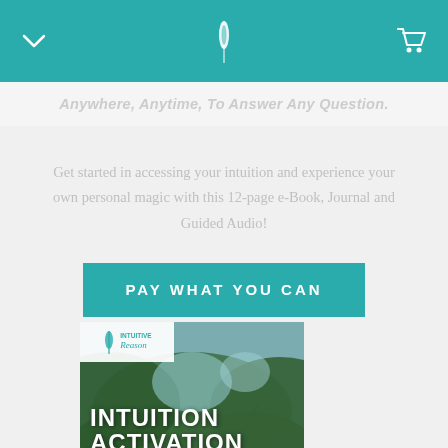Anywhere, Anytime, To Answer Any Question.
Get started in accessing your intuition and experience your own personal magic with this 12-page e-Book, Journal and Guided Audio!
PAY WHAT YOU CAN
[Figure (photo): Book cover for 'Intuition Activation' showing tropical jungle foliage background with white bold text, an Intuitive Reason logo in top left corner, and a teal badge reading 'E-BOOK + AUDIO']